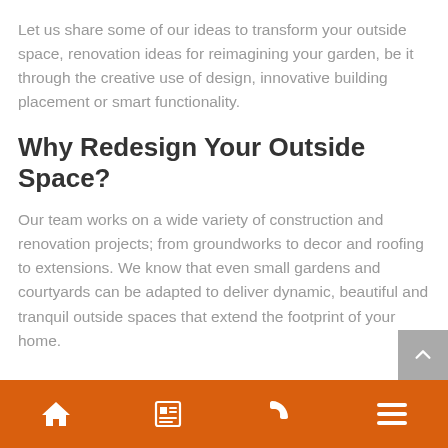Let us share some of our ideas to transform your outside space, renovation ideas for reimagining your garden, be it through the creative use of design, innovative building placement or smart functionality.
Why Redesign Your Outside Space?
Our team works on a wide variety of construction and renovation projects; from groundworks to decor and roofing to extensions. We know that even small gardens and courtyards can be adapted to deliver dynamic, beautiful and tranquil outside spaces that extend the footprint of your home.
Navigation bar with home, news, phone, and menu icons